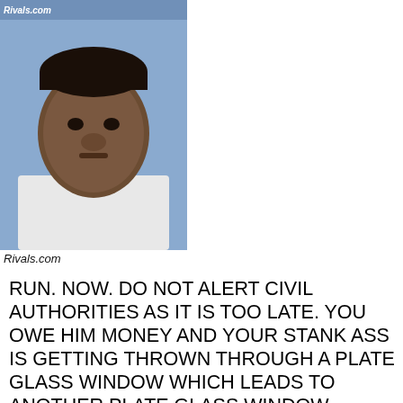[Figure (photo): Headshot photo of a young man in a white shirt with a blue background, watermarked with Rivals.com logo at top]
Rivals.com
RUN. NOW. DO NOT ALERT CIVIL AUTHORITIES AS IT IS TOO LATE. YOU OWE HIM MONEY AND YOUR STANK ASS IS GETTING THROWN THROUGH A PLATE GLASS WINDOW WHICH LEADS TO ANOTHER PLATE GLASS WINDOW LOCATED IN FRONT OF A NEVER ENDING SERIES OF PLATE GLASS WINDOWS. YOUR ONLY FRIEND IS DEATH NOW AND HE'S GONNA BE FIFTEEN MINUTES